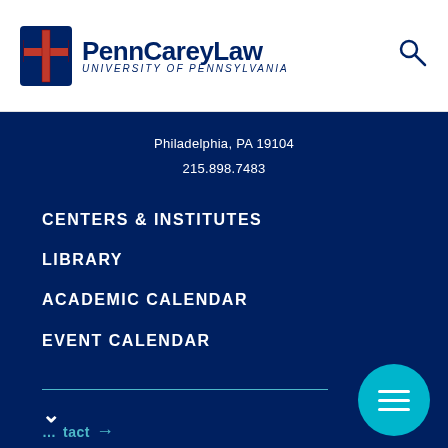Penn Carey Law University of Pennsylvania
Philadelphia, PA 19104
215.898.7483
CENTERS & INSTITUTES
LIBRARY
ACADEMIC CALENDAR
EVENT CALENDAR
LAW SCHOOL LEADERSHIP
PENN
Contact →